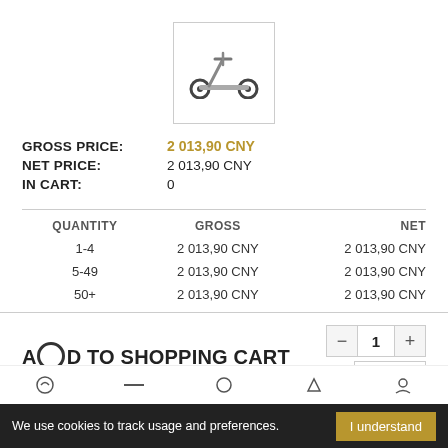[Figure (photo): Electric scooter product image inside a bordered box]
GROSS PRICE: 2 013,90 CNY
NET PRICE: 2 013,90 CNY
IN CART: 0
| QUANTITY | GROSS | NET |
| --- | --- | --- |
| 1-4 | 2 013,90 CNY | 2 013,90 CNY |
| 5-49 | 2 013,90 CNY | 2 013,90 CNY |
| 50+ | 2 013,90 CNY | 2 013,90 CNY |
ADD TO SHOPPING CART
We use cookies to track usage and preferences.
I understand